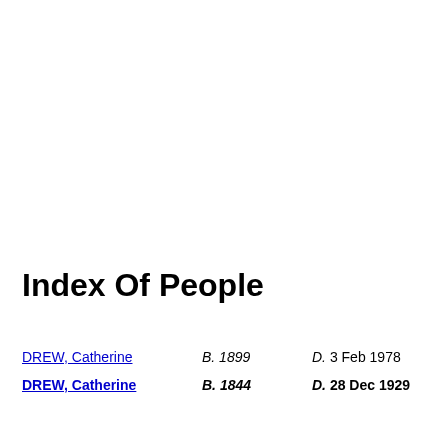Index Of People
DREW, Catherine   B. 1899   D. 3 Feb 1978
DREW, Catherine   B. 1844   D. 28 Dec 1929